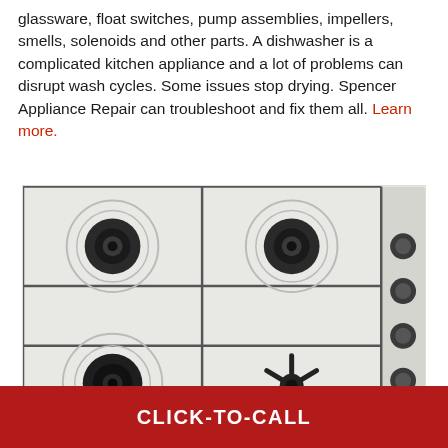glassware, float switches, pump assemblies, impellers, smells, solenoids and other parts. A dishwasher is a complicated kitchen appliance and a lot of problems can disrupt wash cycles. Some issues stop drying. Spencer Appliance Repair can troubleshoot and fix them all. Learn more.
[Figure (photo): Top-down view of a white gas stove/cooktop with four burners (two large black burner grates visible in upper portion, two more partially visible at bottom), metal grill grates in a grid pattern, and black control knobs on the right side.]
CLICK-TO-CALL